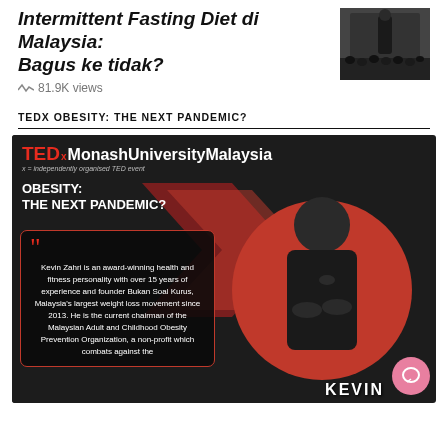Intermittent Fasting Diet di Malaysia: Bagus ke tidak?
81.9K views
[Figure (photo): Black and white photo of a person standing in front of a crowd]
TEDX OBESITY: THE NEXT PANDEMIC?
[Figure (infographic): TEDx MonashUniversityMalaysia event card about Obesity: The Next Pandemic? featuring Kevin Zahri, an award-winning health and fitness personality, with quote about his background and role as chairman of Malaysian Adult and Childhood Obesity Prevention Organization.]